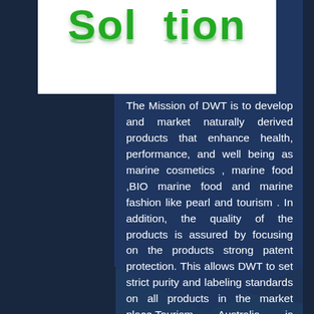Sol tion
The Mission of DWT is to develop and market naturally derived products that enhance health, performance, and well being as marine cosmetics , marine food ,BIO marine food and marine fashion like pearl and tourism . In addition, the quality of the products is assured by focusing on the products strong patent protection. This allows DWT to set strict purity and labeling standards on all products in the market place.Tourism Australia is responsible for attracting international visitors to French Polynesia, both for leisure and business . Our purpose is to increase the economic benefits of a "green" ecotourism. To do this it has implemented a new strategic approach .